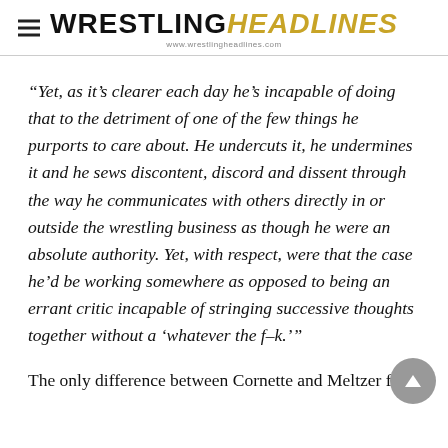WRESTLING HEADLINES — www.wrestlingheadlines.com
“Yet, as it’s clearer each day he’s incapable of doing that to the detriment of one of the few things he purports to care about. He undercuts it, he undermines it and he sews discontent, discord and dissent through the way he communicates with others directly in or outside the wrestling business as though he were an absolute authority. Yet, with respect, were that the case he’d be working somewhere as opposed to being an errant critic incapable of stringing successive thoughts together without a ‘whatever the f–k.’”
The only difference between Cornette and Meltzer from